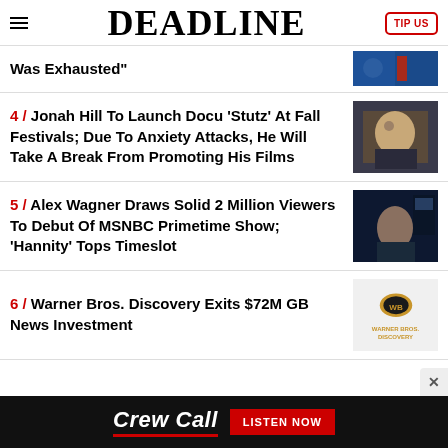DEADLINE
Was Exhausted"
4 / Jonah Hill To Launch Docu 'Stutz' At Fall Festivals; Due To Anxiety Attacks, He Will Take A Break From Promoting His Films
5 / Alex Wagner Draws Solid 2 Million Viewers To Debut Of MSNBC Primetime Show; 'Hannity' Tops Timeslot
6 / Warner Bros. Discovery Exits $72M GB News Investment
[Figure (other): Crew Call advertisement banner with LISTEN NOW button]